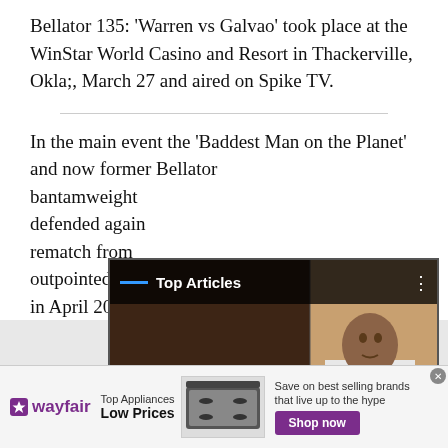Bellator 135: ‘Warren vs Galvao’ took place at the WinStar World Casino and Resort in Thackerville, Okla;, March 27 and aired on Spike TV.
In the main event the ‘Baddest Man on the Planet’ and now former Bellator bantamweight defended again rematch from outpointed Ga in April 2011.
[Figure (screenshot): Video overlay showing Top Articles panel with a video of a man's face (dark background) on the left and another person in a suit on the right. Pause and mute controls visible. Caption reads 'MMA fighter who testified in'. Arrow button on the right.]
[Figure (screenshot): Wayfair advertisement banner: logo, 'Top Appliances Low Prices', image of a stove/range appliance, 'Save on best selling brands that live up to the hype', purple 'Shop now' button.]